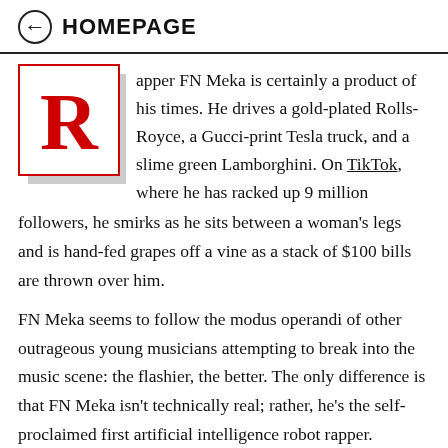← HOMEPAGE
Rapper FN Meka is certainly a product of his times. He drives a gold-plated Rolls-Royce, a Gucci-print Tesla truck, and a slime green Lamborghini. On TikTok, where he has racked up 9 million followers, he smirks as he sits between a woman's legs and is hand-fed grapes off a vine as a stack of $100 bills are thrown over him.
FN Meka seems to follow the modus operandi of other outrageous young musicians attempting to break into the music scene: the flashier, the better. The only difference is that FN Meka isn't technically real; rather, he's the self-proclaimed first artificial intelligence robot rapper.